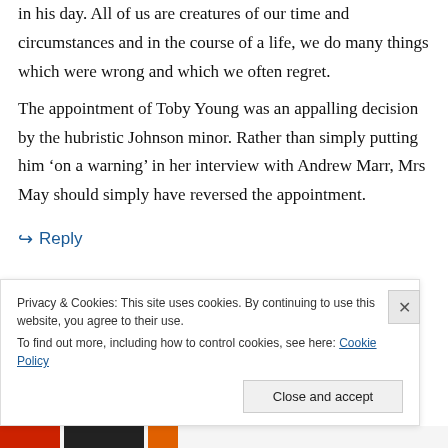in his day. All of us are creatures of our time and circumstances and in the course of a life, we do many things which were wrong and which we often regret.
The appointment of Toby Young was an appalling decision by the hubristic Johnson minor. Rather than simply putting him ‘on a warning’ in her interview with Andrew Marr, Mrs May should simply have reversed the appointment.
↪ Reply
Privacy & Cookies: This site uses cookies. By continuing to use this website, you agree to their use.
To find out more, including how to control cookies, see here: Cookie Policy
Close and accept